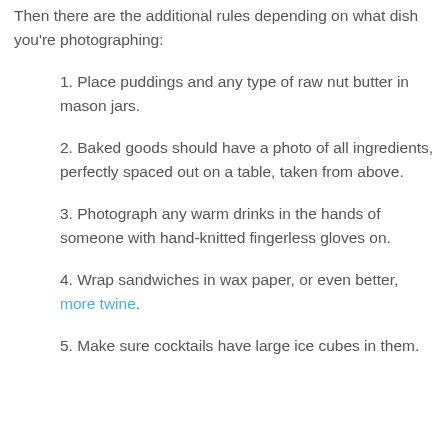8. Take photo directly from above and if taking photo from a different angle, ensure at all costs a very shallow depth of field.
Then there are the additional rules depending on what dish you're photographing:
1. Place puddings and any type of raw nut butter in mason jars.
2. Baked goods should have a photo of all ingredients, perfectly spaced out on a table, taken from above.
3. Photograph any warm drinks in the hands of someone with hand-knitted fingerless gloves on.
4. Wrap sandwiches in wax paper, or even better, more twine.
5. Make sure cocktails have large ice cubes in them.